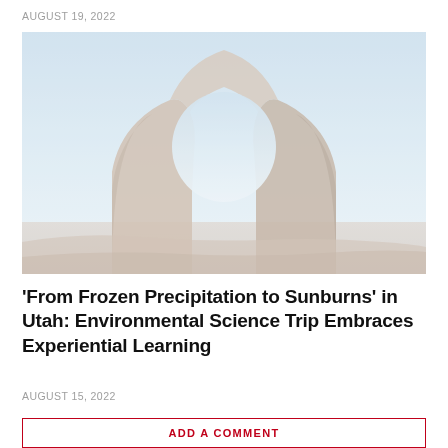AUGUST 19, 2022
[Figure (photo): Photograph of Delicate Arch, a large natural sandstone arch in Utah, with a pale blue sky in the background. The arch is reddish-brown sandstone and appears slightly faded/washed out.]
‘From Frozen Precipitation to Sunburns’ in Utah: Environmental Science Trip Embraces Experiential Learning
AUGUST 15, 2022
ADD A COMMENT